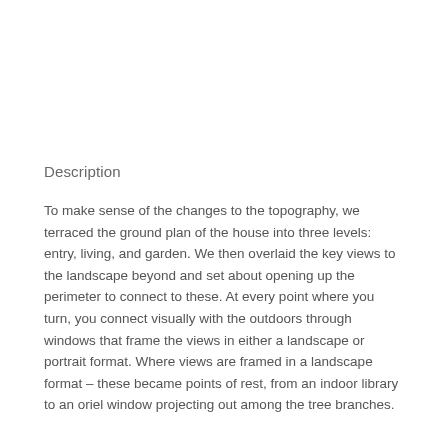Description
To make sense of the changes to the topography, we terraced the ground plan of the house into three levels: entry, living, and garden. We then overlaid the key views to the landscape beyond and set about opening up the perimeter to connect to these. At every point where you turn, you connect visually with the outdoors through windows that frame the views in either a landscape or portrait format. Where views are framed in a landscape format – these became points of rest, from an indoor library to an oriel window projecting out among the tree branches.